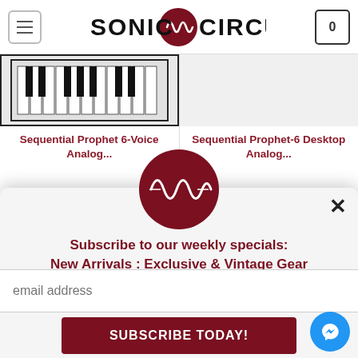[Figure (screenshot): Sonic Circus website header with hamburger menu icon, SONIC CIRCUS logo with waveform icon, and cart button showing 0]
Sequential Prophet 6-Voice Analog...
Sequential Prophet-6 Desktop Analog...
[Figure (logo): Sonic Circus circular logo with dark red background and white waveform graphic]
Subscribe to our weekly specials:
New Arrivals : Exclusive & Vintage Gear
email address
SUBSCRIBE TODAY!